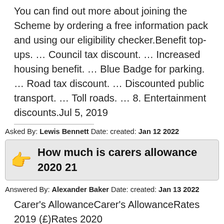You can find out more about joining the Scheme by ordering a free information pack and using our eligibility checker.Benefit top-ups. … Council tax discount. … Increased housing benefit. … Blue Badge for parking. … Road tax discount. … Discounted public transport. … Toll roads. … 8. Entertainment discounts.Jul 5, 2019
Asked By: Lewis Bennett Date: created: Jan 12 2022
How much is carers allowance 2020 21
Answered By: Alexander Baker Date: created: Jan 13 2022
Carer's AllowanceCarer's AllowanceRates 2019 (£)Rates 2020